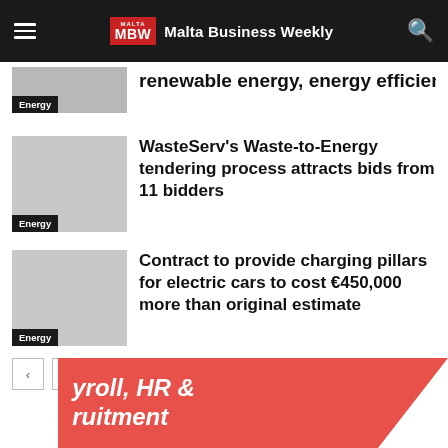Malta Business Weekly
renewable energy, energy efficiency
WasteServ's Waste-to-Energy tendering process attracts bids from 11 bidders
Contract to provide charging pillars for electric cars to cost €450,000 more than original estimate
[Figure (other): Pagination buttons: left arrow and right arrow]
[Figure (other): Promotional banner in coral/red color with italic text mentioning payroll, HR & recruitment]